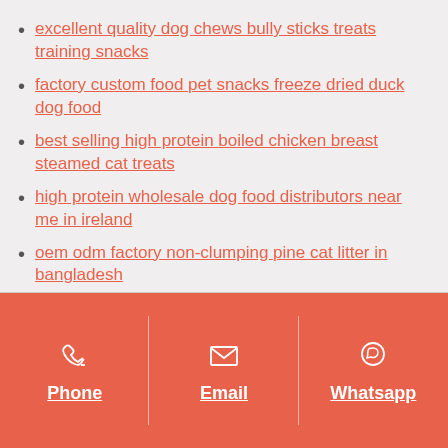excellent quality dog chews bully sticks treats training snacks
factory custom food pet snacks freeze dried duck dog food
best selling high protein boiled chicken breast steamed cat treats
high protein wholesale dog food distributors near me in ireland
oem odm factory non-clumping pine cat litter in bangladesh
Phone | Email | Whatsapp